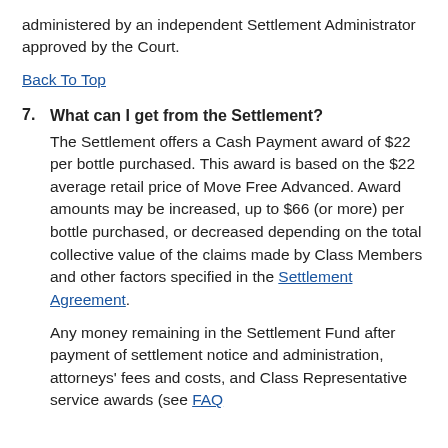administered by an independent Settlement Administrator approved by the Court.
Back To Top
7. What can I get from the Settlement? The Settlement offers a Cash Payment award of $22 per bottle purchased. This award is based on the $22 average retail price of Move Free Advanced. Award amounts may be increased, up to $66 (or more) per bottle purchased, or decreased depending on the total collective value of the claims made by Class Members and other factors specified in the Settlement Agreement.
Any money remaining in the Settlement Fund after payment of settlement notice and administration, attorneys' fees and costs, and Class Representative service awards (see FAQ